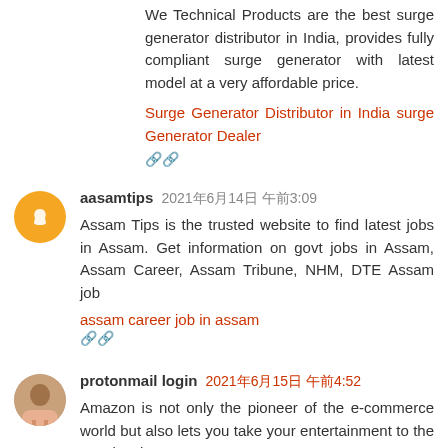We Technical Products are the best surge generator distributor in India, provides fully compliant surge generator with latest model at a very affordable price.
Surge Generator Distributor in India surge Generator Dealer
🔗🔗
aasamtips 2021年6月14日 午前3:09
Assam Tips is the trusted website to find latest jobs in Assam. Get information on govt jobs in Assam, Assam Career, Assam Tribune, NHM, DTE Assam job
assam career job in assam
🔗🔗
protonmail login 2021年6月15日 午前4:52
Amazon is not only the pioneer of the e-commerce world but also lets you take your entertainment to the next level